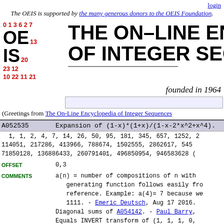login
The OEIS is supported by the many generous donors to the OEIS Foundation.
[Figure (logo): OEIS logo with numbers and text: THE ON-LINE ENCYCLOPEDIA OF INTEGER SEQUENCES]
founded in 1964
(Greetings from The On-Line Encyclopedia of Integer Sequences)
A052535   Expansion of (1-x)*(1+x)/(1-x-2*x^2+x^4).
1, 1, 2, 4, 7, 14, 26, 50, 95, 181, 345, 657, 1252, 2...
114051, 217286, 413966, 788674, 1502555, 2862617, 545...
71850128, 136886433, 260791401, 496850954, 946583628 (
OFFSET   0,3
COMMENTS   a(n) = number of compositions of n with...
generating function follows easily fro...
reference. Example: a(4)= 7 because we...
1111. - Emeric Deutsch, Aug 17 2016.
Diagonal sums of A054142. - Paul Barry,
Equals INVERT transform of (1, 1, 1, 0,...
Adamson, Apr 27 2009
Number of tilings of a 4 X 2n rectangle